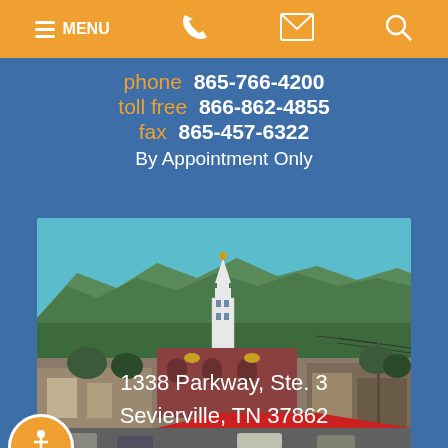[Figure (screenshot): Mobile website navigation bar with orange background showing hamburger menu labeled MENU, phone icon, email/envelope icon, and search magnifying glass icon]
phone  865-766-4200
toll free  866-862-4855
fax  865-457-6322
By Appointment Only
[Figure (photo): Aerial/elevated photo of Sevierville, Tennessee downtown showing a church steeple with gold dome, brick buildings, trees, mountains in the background, and busy street/parking area in foreground]
1338 Parkway, Ste. 3
Sevierville, TN 37862